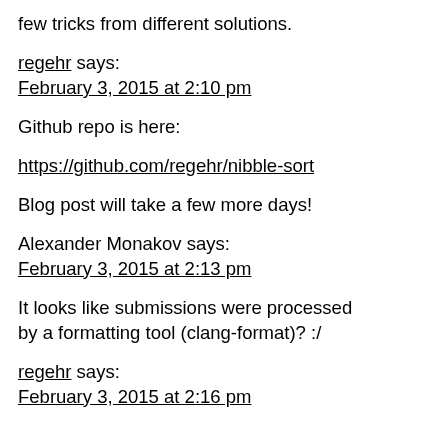few tricks from different solutions.
regehr says:
February 3, 2015 at 2:10 pm
Github repo is here:
https://github.com/regehr/nibble-sort
Blog post will take a few more days!
Alexander Monakov says:
February 3, 2015 at 2:13 pm
It looks like submissions were processed by a formatting tool (clang-format)? :/
regehr says:
February 3, 2015 at 2:16 pm